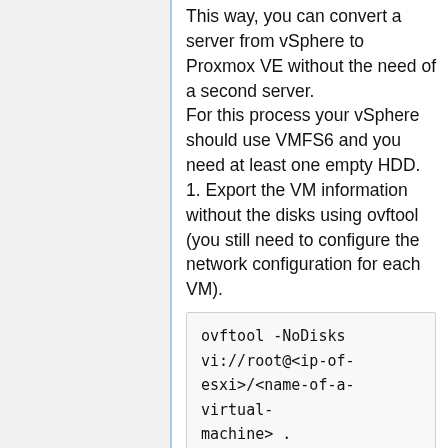This way, you can convert a server from vSphere to Proxmox VE without the need of a second server.
For this process your vSphere should use VMFS6 and you need at least one empty HDD.
1. Export the VM information without the disks using ovftool (you still need to configure the network configuration for each VM).
[Figure (screenshot): Code block showing: ovftool -NoDisks vi://root@<ip-of-esxi>/<name-of-a-virtual-machine> .]
2. Install Proxmox VE on some disk that does not contain any important data. You don't need vSphere anymore at this point. If you have an OS disk with only vSphere on it, then you can now...